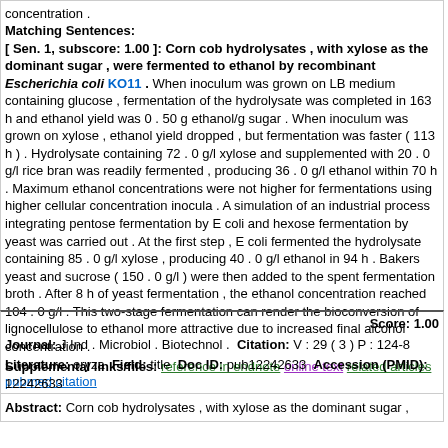concentration .
Matching Sentences:
[ Sen. 1, subscore: 1.00 ]: Corn cob hydrolysates , with xylose as the dominant sugar , were fermented to ethanol by recombinant Escherichia coli KO11 . When inoculum was grown on LB medium containing glucose , fermentation of the hydrolysate was completed in 163 h and ethanol yield was 0 . 50 g ethanol/g sugar . When inoculum was grown on xylose , ethanol yield dropped , but fermentation was faster ( 113 h ) . Hydrolysate containing 72 . 0 g/l xylose and supplemented with 20 . 0 g/l rice bran was readily fermented , producing 36 . 0 g/l ethanol within 70 h . Maximum ethanol concentrations were not higher for fermentations using higher cellular concentration inocula . A simulation of an industrial process integrating pentose fermentation by E coli and hexose fermentation by yeast was carried out . At the first step , E coli fermented the hydrolysate containing 85 . 0 g/l xylose , producing 40 . 0 g/l ethanol in 94 h . Bakers yeast and sucrose ( 150 . 0 g/l ) were then added to the spent fermentation broth . After 8 h of yeast fermentation , the ethanol concentration reached 104 . 0 g/l . This two-stage fermentation can render the bioconversion of lignocellulose to ethanol more attractive due to increased final alcohol concentration .
Supplemental links/files: reference in endnote online text related articles pubmed citation
Score: 1.00
Journal: J Ind . Microbiol . Biotechnol . Citation: V : 29 ( 3 ) P : 124-8
Literature: oryza Field: title Doc ID: pub12242633 Accession (PMID): 12242633
Abstract: Corn cob hydrolysates , with xylose as the dominant sugar ,